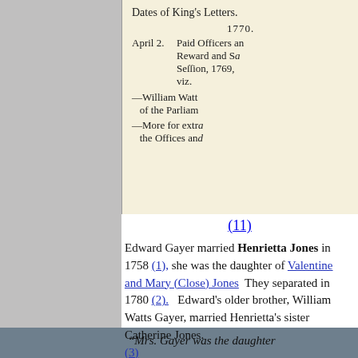[Figure (photo): Scanned historical document showing 'Dates of King's Letters, 1770, April 2. Paid Officers and Reward and Session, 1769, viz. —William Watts of the Parliament —More for extra the Offices and...']
(11)
Edward Gayer married Henrietta Jones in 1758 (1), she was the daughter of Valentine and Mary (Close) Jones  They separated in 1780 (2).  Edward's older brother, William Watts Gayer, married Henrietta's sister Catherine Jones. (3)
“Mrs. Gayer was the daughter